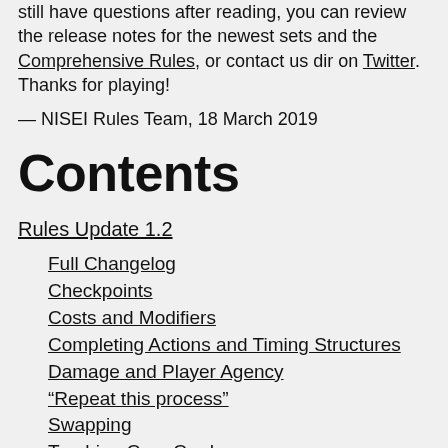still have questions after reading, you can review the release notes for the newest sets and the Comprehensive Rules, or contact us directly on Twitter. Thanks for playing!
— NISEI Rules Team, 18 March 2019
Contents
Rules Update 1.2
Full Changelog
Checkpoints
Costs and Modifiers
Completing Actions and Timing Structures
Damage and Player Agency
“Repeat this process”
Swapping
Trashing Corp Cards